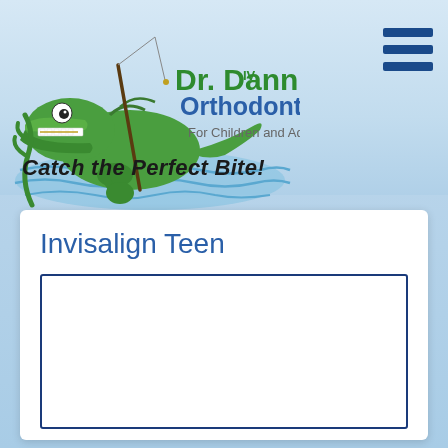[Figure (logo): Dr. Dann Orthodontics logo featuring a cartoon alligator holding a fishing rod with braces on its teeth, standing in water. Text reads 'Dr. Dann IV Orthodontics For Children and Adults'. Tagline below: 'Catch the Perfect Bite!']
Invisalign Teen
[Figure (other): Empty white bordered box placeholder for content/image]